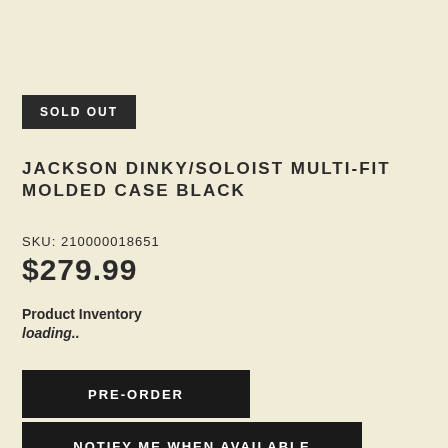SOLD OUT
JACKSON DINKY/SOLOIST MULTI-FIT MOLDED CASE BLACK
SKU: 210000018651
$279.99
Product Inventory
loading..
PRE-ORDER
NOTIFY ME WHEN AVAILABLE